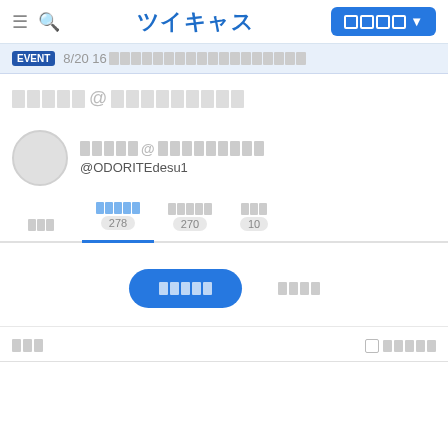≡ 🔍 ツイキャス [button] ▼
EVENT 8/20 16[redacted]
[redacted]@[redacted]
[redacted]@[redacted] @ODORITEdesu1
タブ [active]ライブ配信 278 / フォロワー 270 / フォロー 10
[button: ライブ配信] [button: フォロー]
一覧 □ 絞り込む